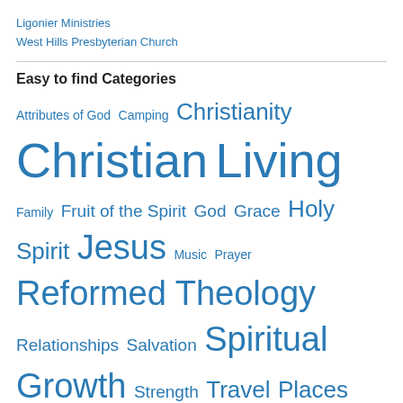Ligonier Ministries
West Hills Presbyterian Church
Easy to find Categories
Attributes of God  Camping  Christianity  Christian Living  Family  Fruit of the Spirit  God  Grace  Holy Spirit  Jesus  Music  Prayer  Reformed Theology  Relationships  Salvation  Spiritual Growth  Strength  Travel Places  Uncategorized  Witnessing
Social Media